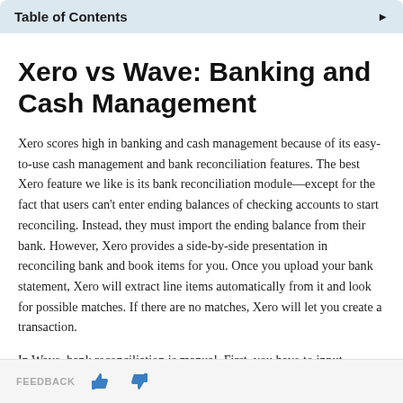Table of Contents ▶
Xero vs Wave: Banking and Cash Management
Xero scores high in banking and cash management because of its easy-to-use cash management and bank reconciliation features. The best Xero feature we like is its bank reconciliation module—except for the fact that users can't enter ending balances of checking accounts to start reconciling. Instead, they must import the ending balance from their bank. However, Xero provides a side-by-side presentation in reconciling bank and book items for you. Once you upload your bank statement, Xero will extract line items automatically from it and look for possible matches. If there are no matches, Xero will let you create a transaction.
In Wave, bank reconciliation is manual. First, you have to input
FEEDBACK 👍 👎